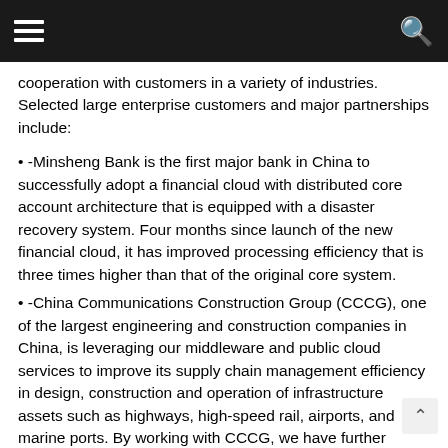[hamburger menu] [search icon]
cooperation with customers in a variety of industries. Selected large enterprise customers and major partnerships include:
• -Minsheng Bank is the first major bank in China to successfully adopt a financial cloud with distributed core account architecture that is equipped with a disaster recovery system. Four months since launch of the new financial cloud, it has improved processing efficiency that is three times higher than that of the original core system.
• -China Communications Construction Group (CCCG), one of the largest engineering and construction companies in China, is leveraging our middleware and public cloud services to improve its supply chain management efficiency in design, construction and operation of infrastructure assets such as highways, high-speed rail, airports, and marine ports. By working with CCCG, we have further penetrated into the industrial and construction sector.
• -IHG® (InterContinental Hotels Group) is leveraging Alibaba Cloud's hybrid cloud solution, compliance and security services to